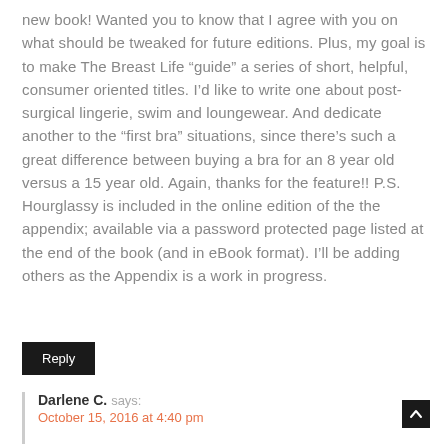new book! Wanted you to know that I agree with you on what should be tweaked for future editions. Plus, my goal is to make The Breast Life “guide” a series of short, helpful, consumer oriented titles. I’d like to write one about post-surgical lingerie, swim and loungewear. And dedicate another to the “first bra” situations, since there’s such a great difference between buying a bra for an 8 year old versus a 15 year old. Again, thanks for the feature!! P.S. Hourglassy is included in the online edition of the the appendix; available via a password protected page listed at the end of the book (and in eBook format). I’ll be adding others as the Appendix is a work in progress.
Reply
Darlene C. says:
October 15, 2016 at 4:40 pm